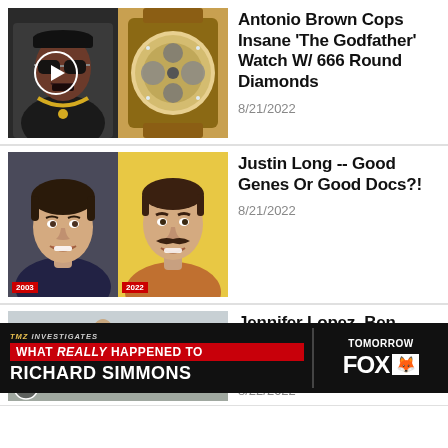[Figure (photo): Two-panel thumbnail: Antonio Brown on left with sunglasses and gold chain, luxury watch on right]
Antonio Brown Cops Insane 'The Godfather' Watch W/ 666 Round Diamonds
8/21/2022
[Figure (photo): Two-panel before/after photo of Justin Long: 2003 on left, 2022 on right]
Justin Long -- Good Genes Or Good Docs?!
8/21/2022
[Figure (photo): Outdoor photo at Jennifer Lopez and Ben Affleck wedding, with TMZ Investigates banner overlay about Richard Simmons airing Tomorrow on FOX]
Jennifer Lopez, Ben Affleck's Second Wedding Dress, Photos
8/22/2022